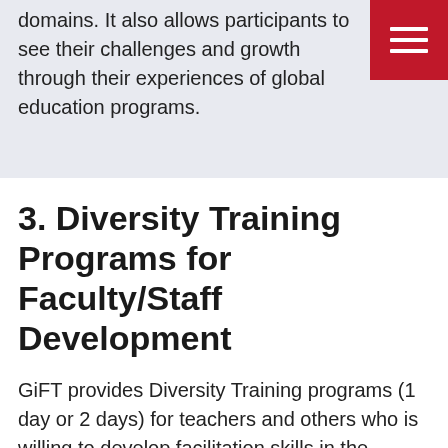domains. It also allows participants to see their challenges and growth through their experiences of global education programs.
3. Diversity Training Programs for Faculty/Staff Development
GiFT provides Diversity Training programs (1 day or 2 days) for teachers and others who is willing to develop facilitation skills in the classroom settings, and other places.